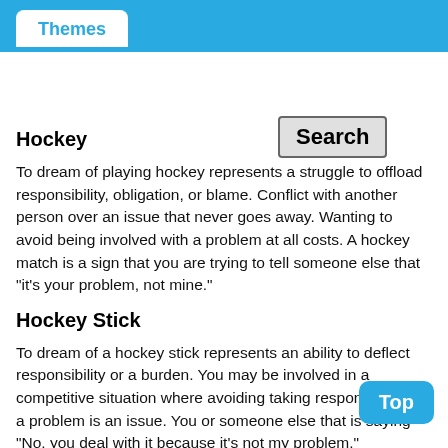Themes
Hockey
To dream of playing hockey represents a struggle to offload responsibility, obligation, or blame. Conflict with another person over an issue that never goes away. Wanting to avoid being involved with a problem at all costs. A hockey match is a sign that you are trying to tell someone else that "it's your problem, not mine."
Hockey Stick
To dream of a hockey stick represents an ability to deflect responsibility or a burden. You may be involved in a competitive situation where avoiding taking responsibility for a problem is an issue. You or someone else that is saying "No, you deal with it because it's not my problem."
Positively, a hockey stick may represent your decision to stick up for yourself or respect yourself more than someone else. An